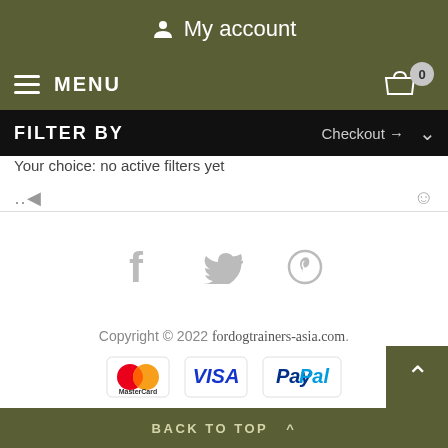My account
MENU
FILTER BY   Checkout →
Your choice: no active filters yet
[Figure (illustration): Social media icons: Facebook, Twitter, Pinterest in light gray]
Copyright © 2022 fordogtrainers-asia.com.
[Figure (illustration): Payment method logos: MasterCard, VISA, PayPal]
BACK TO TOP ^